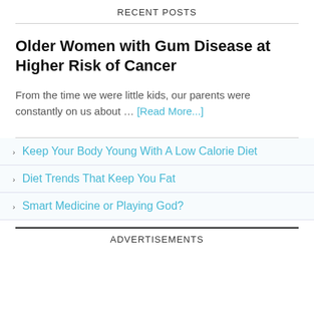RECENT POSTS
Older Women with Gum Disease at Higher Risk of Cancer
From the time we were little kids, our parents were constantly on us about … [Read More...]
Keep Your Body Young With A Low Calorie Diet
Diet Trends That Keep You Fat
Smart Medicine or Playing God?
ADVERTISEMENTS